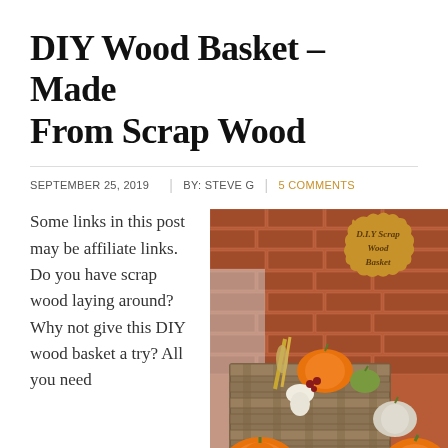DIY Wood Basket - Made From Scrap Wood
SEPTEMBER 25, 2019  |  BY: STEVE G  |  5 COMMENTS
Some links in this post may be affiliate links. Do you have scrap wood laying around? Why not give this DIY wood basket a try? All you need
[Figure (photo): A DIY scrap wood basket filled with pumpkins and fall harvest vegetables, placed against a brick wall. A decorative gold badge reads 'DIY Scrap Wood Basket'.]